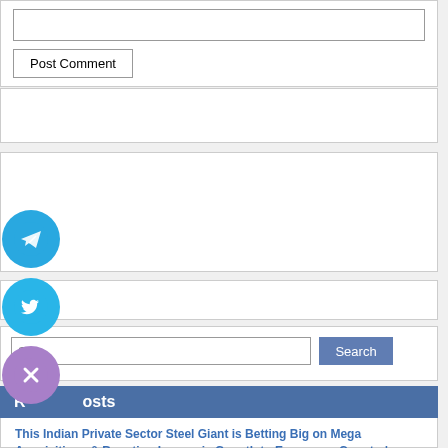[Figure (screenshot): A web form partial view showing an input field and a 'Post Comment' button, followed by multiple white placeholder boxes, a search bar with a Search button, a Recent Posts section header, an article link, and social media icons (Telegram, Twitter, and a close/X button) overlaid on the left side.]
Post Comment
Search
Recent Posts
This Indian Private Sector Steel Giant is Betting Big on Mega Acquisitions & Boosting Inorganic Growth to Emerge as Country's